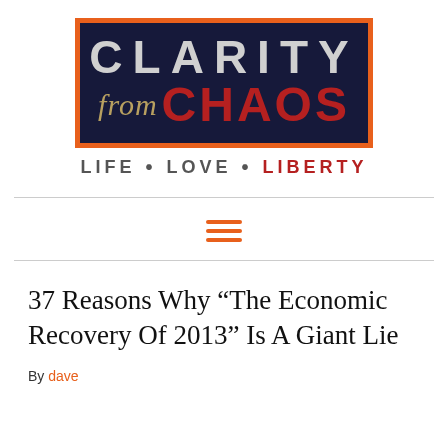[Figure (logo): Clarity from Chaos logo — dark navy box with orange border, 'CLARITY' in large grey caps, 'from' in gold italic script, 'CHAOS' in large red bold caps. Tagline below: LIFE • LOVE • LIBERTY]
37 Reasons Why “The Economic Recovery Of 2013” Is A Giant Lie
By dave